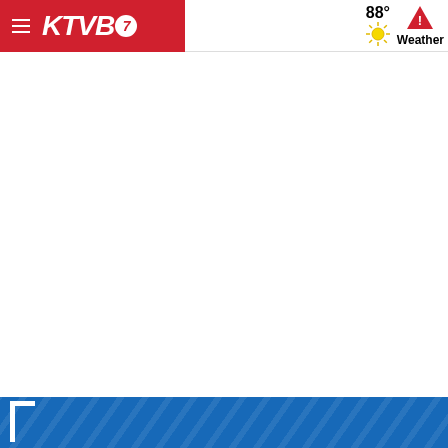KTVB7 — 88° Weather
[Figure (screenshot): Large white blank content area below the navigation header]
[Figure (other): Blue diagonal-striped footer banner with partial white bracket/logo element at bottom left]